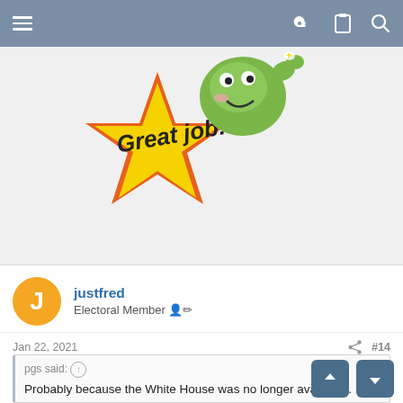[Figure (illustration): A cartoon sticker of a green frog character giving a thumbs up next to a yellow star shape with orange border that reads 'Great job!' in black handwritten text.]
justfred
Electoral Member
Jan 22, 2021
#14
pgs said: Probably because the White House was no longer available .
My memory says he moved there about 1-2 years ago, then voted by Mail in contradiction to his policy of nobody should be able to vote by Mail, unless th are Republicans.